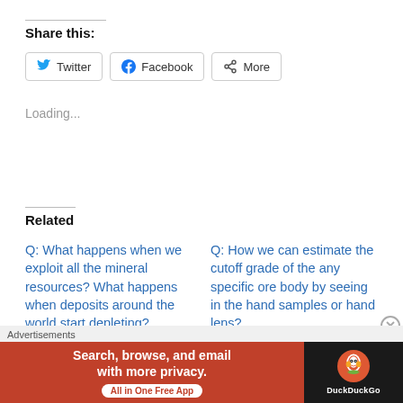Share this:
[Figure (other): Share buttons row: Twitter, Facebook, More]
Loading...
Related
Q: What happens when we exploit all the mineral resources? What happens when deposits around the world start depleting?
July 1, 2020
In "Editorials - Opinions"
Q: How we can estimate the cutoff grade of the any specific ore body by seeing in the hand samples or hand lens?
June 26, 2020
In "Geology Education"
Advertisements
[Figure (screenshot): DuckDuckGo advertisement banner: Search, browse, and email with more privacy. All in One Free App]